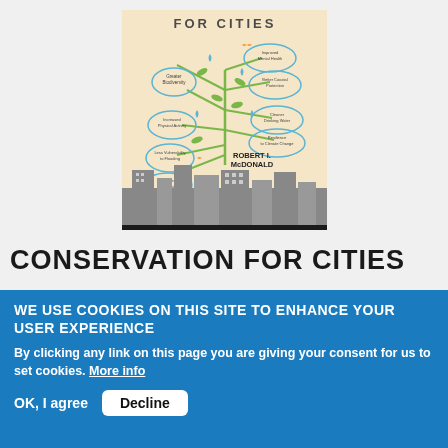[Figure (illustration): Book cover of 'Conservation for Cities' by Robert I. McDonald, showing a tree diagram with benefits branching out (Improved Mental Health, Greater Biodiversity, Better Coastal Protection, Cleaner Drinking Water, Resilience to Climate Change, Less Vulnerability to Flooding, Increased Physical Activity, Reduced Stormwater), with city skyline at the bottom, leaves, water drops, and birds.]
CONSERVATION FOR CITIES
WE USE COOKIES ON THIS SITE TO ENHANCE YOUR USER EXPERIENCE
By clicking any link on this page you are giving your consent for us to set cookies. More info
OK, I agree
Decline